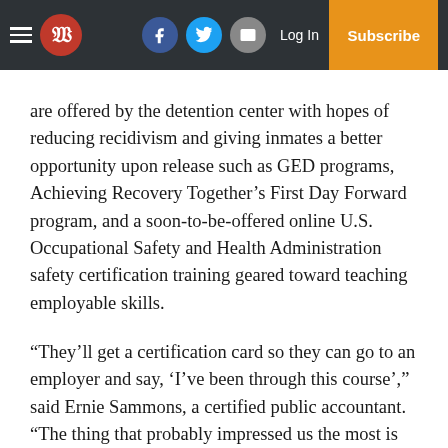W | Log In | Subscribe
are offered by the detention center with hopes of reducing recidivism and giving inmates a better opportunity upon release such as GED programs, Achieving Recovery Together’s First Day Forward program, and a soon-to-be-offered online U.S. Occupational Safety and Health Administration safety certification training geared toward teaching employable skills.
“They’ll get a certification card so they can go to an employer and say, ‘I’ve been through this course’,” said Ernie Sammons, a certified public accountant. “The thing that probably impressed us the most is